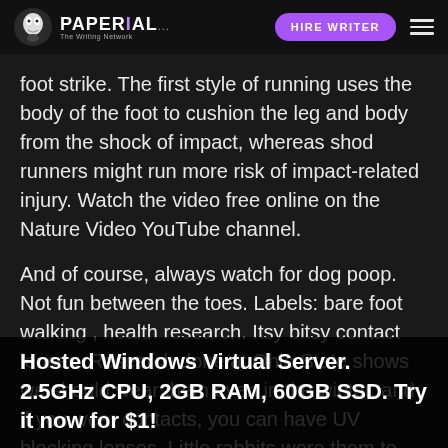PAPERIAL... HIRE WRITER
foot strike. The first style of running uses the body of the foot to cushion the leg and body from the shock of impact, whereas shod runners might run more risk of impact-related injury. Watch the video free online on the Nature Video YouTube channel.
And of course, always watch for dog poop. Not fun between the toes. Labels: bare foot walking , health research. Itsy bitsy contact lenses. Research done at Ohio State shows we should wear them even in the winter, and if you wear contacts, you can have UV blocking lenses. Little rabbits wore them to test their effectiveness. I don't even want to know how they found out they were or weren't affected. But if you read the original it will tell you. According to the
Hosted Windows Virtual Server. 2.5GHz CPU, 2GB RAM, 60GB SSD. Try it now for $1!